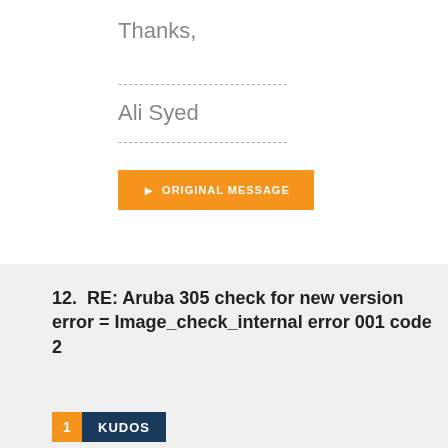Thanks,
--------------------------------
Ali Syed
--------------------------------
▶ ORIGINAL MESSAGE
12.  RE: Aruba 305 check for new version error = Image_check_internal error 001 code 2
1  KUDOS